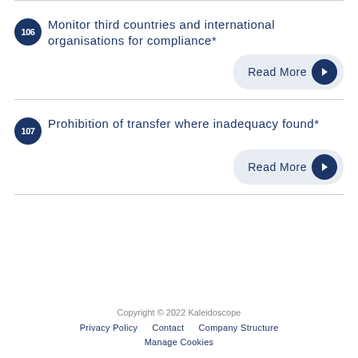106 Monitor third countries and international organisations for compliance*
107 Prohibition of transfer where inadequacy found*
Copyright © 2022 Kaleidoscope  Privacy Policy  Contact  Company Structure  Manage Cookies